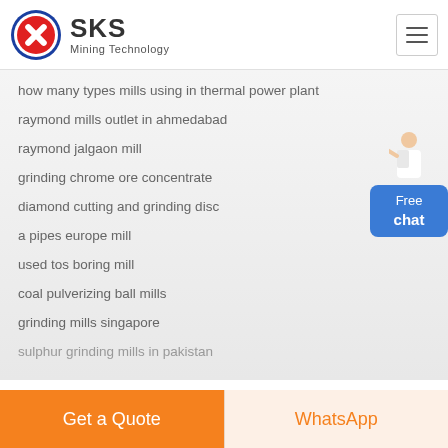[Figure (logo): SKS Mining Technology logo with red and blue circular emblem]
how many types mills using in thermal power plant
raymond mills outlet in ahmedabad
raymond jalgaon mill
grinding chrome ore concentrate
diamond cutting and grinding disc
a pipes europe mill
used tos boring mill
coal pulverizing ball mills
grinding mills singapore
sulphur grinding mills in pakistan